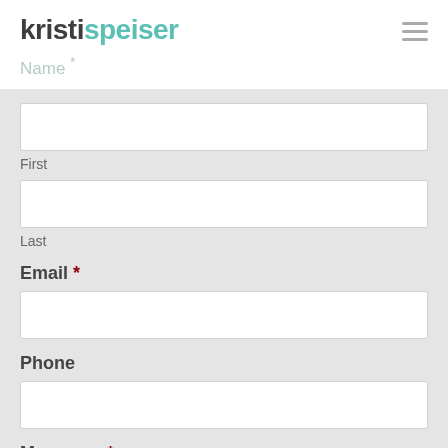kristispeiser
Name *
First
Last
Email *
Phone
Message: *